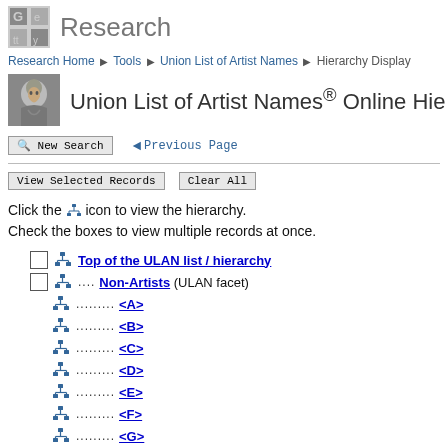Research
Research Home ▶ Tools ▶ Union List of Artist Names ▶ Hierarchy Display
Union List of Artist Names® Online Hie...
◄ New Search   ◄ Previous Page
View Selected Records   Clear All
Click the icon to view the hierarchy.
Check the boxes to view multiple records at once.
Top of the ULAN list / hierarchy
.... Non-Artists (ULAN facet)
......... <A>
......... <B>
......... <C>
......... <D>
......... <E>
......... <F>
......... <G>
......... <H>